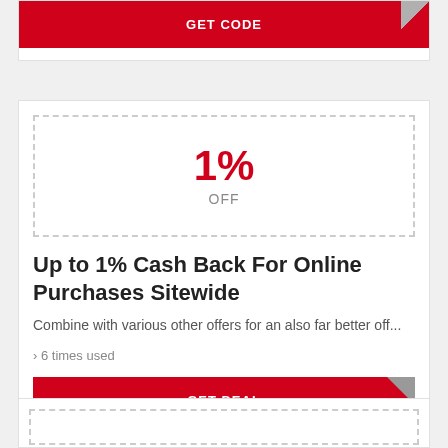GET CODE
1%
OFF
Up to 1% Cash Back For Online Purchases Sitewide
Combine with various other offers for an also far better off...
› 6 times used
GET DEAL